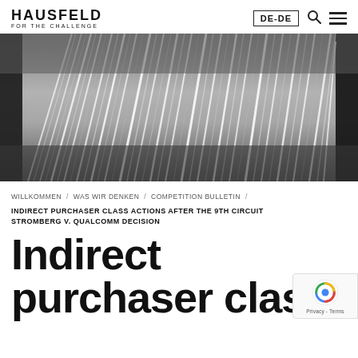HAUSFELD FOR THE CHALLENGE
[Figure (photo): Close-up black and white photo of book pages fanned out, showing many thin white paper edges against dark background]
WILLKOMMEN / WAS WIR DENKEN / COMPETITION BULLETIN /
INDIRECT PURCHASER CLASS ACTIONS AFTER THE 9TH CIRCUIT STROMBERG V. QUALCOMM DECISION
Indirect purchaser class